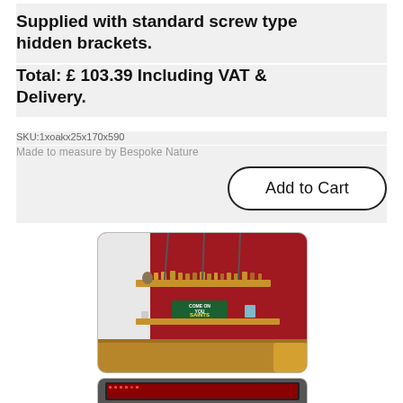Supplied with standard screw type hidden brackets.
Total: £ 103.39 Including VAT & Delivery.
SKU:1xoakx25x170x590
Made to measure by Bespoke Nature
Add to Cart
[Figure (photo): Photo of a wooden floating shelf mounted on a red wall, displaying trophies and figurines on top shelf and a 'COME ON YOU SAINTS' green sign below, with a wooden table visible at bottom.]
[Figure (photo): Partial view of another shelf or product photo, appears to be a dark-framed shelf or LED display.]